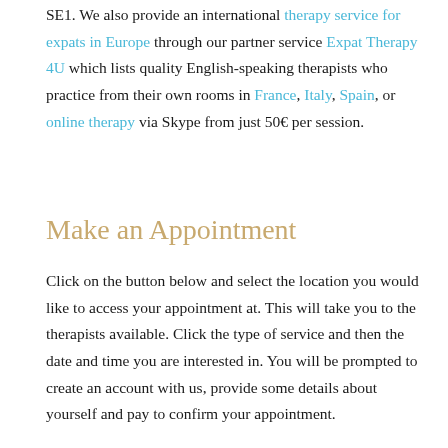SE1. We also provide an international therapy service for expats in Europe through our partner service Expat Therapy 4U which lists quality English-speaking therapists who practice from their own rooms in France, Italy, Spain, or online therapy via Skype from just 50€ per session.
Make an Appointment
Click on the button below and select the location you would like to access your appointment at. This will take you to the therapists available. Click the type of service and then the date and time you are interested in. You will be prompted to create an account with us, provide some details about yourself and pay to confirm your appointment.